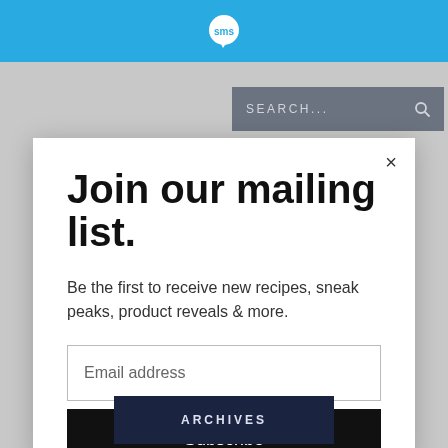[Figure (logo): SMS logo white speech bubble icon on blue header bar]
[Figure (screenshot): Search bar with text SEARCH... and magnifier icon on dark gray background]
Join our mailing list.
Be the first to receive new recipes, sneak peaks, product reveals & more.
Email address
Subscribe
CLOSE
ARCHIVES